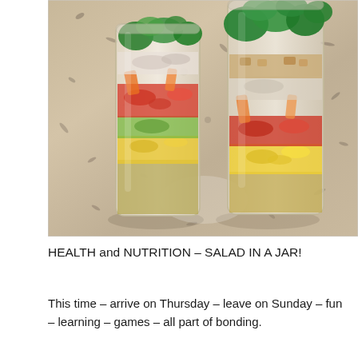[Figure (photo): Two glass jars filled with layered salad ingredients (greens, tomatoes, corn, peppers, onion, dressing) sitting on a granite countertop, photographed from above at an angle.]
HEALTH and NUTRITION – SALAD IN A JAR!
This time – arrive on Thursday – leave on Sunday – fun – learning – games – all part of bonding.